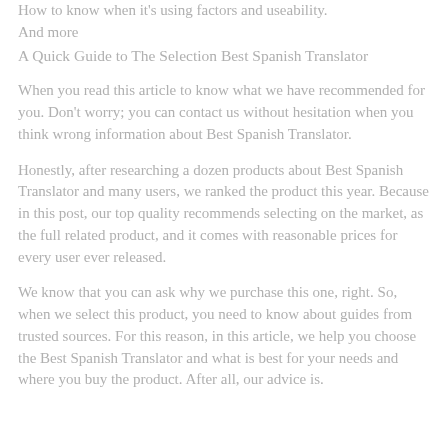How to know when it's using factors and useability. And more
A Quick Guide to The Selection Best Spanish Translator
When you read this article to know what we have recommended for you. Don’t worry; you can contact us without hesitation when you think wrong information about Best Spanish Translator.
Honestly, after researching a dozen products about Best Spanish Translator and many users, we ranked the product this year. Because in this post, our top quality recommends selecting on the market, as the full related product, and it comes with reasonable prices for every user ever released.
We know that you can ask why we purchase this one, right. So, when we select this product, you need to know about guides from trusted sources. For this reason, in this article, we help you choose the Best Spanish Translator and what is best for your needs and where you buy the product. After all, our advice is.